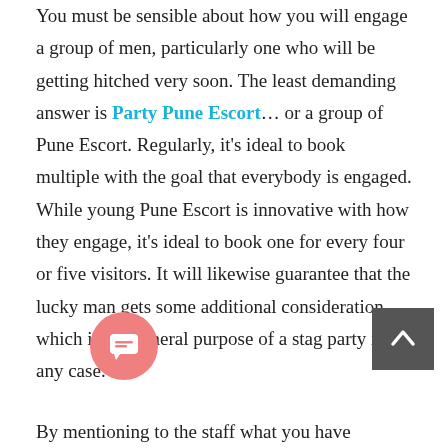You must be sensible about how you will engage a group of men, particularly one who will be getting hitched very soon. The least demanding answer is Party Pune Escort… or a group of Pune Escort. Regularly, it's ideal to book multiple with the goal that everybody is engaged. While young Pune Escort is innovative with how they engage, it's ideal to book one for every four or five visitors. It will likewise guarantee that the lucky man gets some additional consideration, which is the general purpose of a stag party in any case.

By mentioning to the staff what you have arranged, it's simpler to book with accompanies who have experience engaging at these sorts of parties. They'll find out about moving and keeping visitors glad